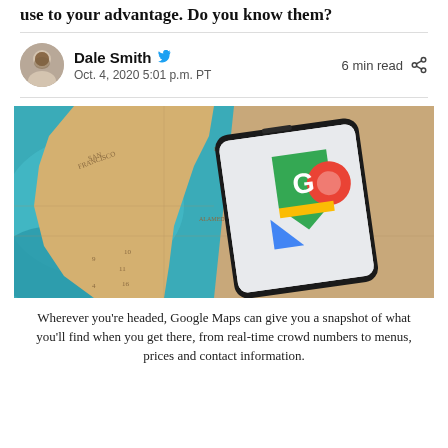use to your advantage. Do you know them?
Dale Smith  Oct. 4, 2020 5:01 p.m. PT   6 min read
[Figure (photo): A smartphone displaying the Google Maps app logo resting on a vintage paper map showing the San Francisco Bay Area including Oakland, Alameda, Berkeley, and San Francisco.]
Wherever you're headed, Google Maps can give you a snapshot of what you'll find when you get there, from real-time crowd numbers to menus, prices and contact information.